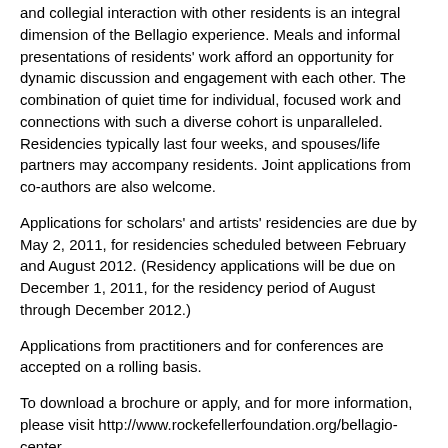and collegial interaction with other residents is an integral dimension of the Bellagio experience. Meals and informal presentations of residents' work afford an opportunity for dynamic discussion and engagement with each other. The combination of quiet time for individual, focused work and connections with such a diverse cohort is unparalleled. Residencies typically last four weeks, and spouses/life partners may accompany residents. Joint applications from co-authors are also welcome.
Applications for scholars' and artists' residencies are due by May 2, 2011, for residencies scheduled between February and August 2012. (Residency applications will be due on December 1, 2011, for the residency period of August through December 2012.)
Applications from practitioners and for conferences are accepted on a rolling basis.
To download a brochure or apply, and for more information, please visit http://www.rockefellerfoundation.org/bellagio-center http://www.rockefellerfoundation.org/news/publications/rockefeller-foundation-bellagio-center